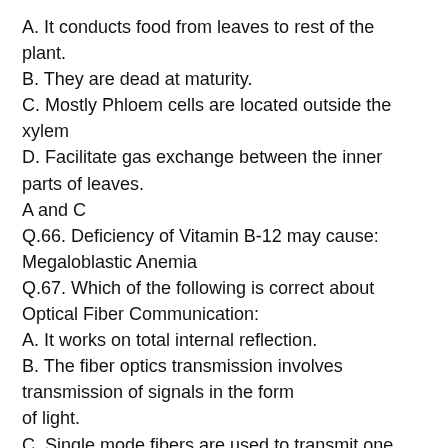A. It conducts food from leaves to rest of the plant.
B. They are dead at maturity.
C. Mostly Phloem cells are located outside the xylem
D. Facilitate gas exchange between the inner parts of leaves.
A and C
Q.66. Deficiency of Vitamin B-12 may cause:
Megaloblastic Anemia
Q.67. Which of the following is correct about Optical Fiber Communication:
A. It works on total internal reflection.
B. The fiber optics transmission involves transmission of signals in the form of light.
C. Single mode fibers are used to transmit one signal per fiber.